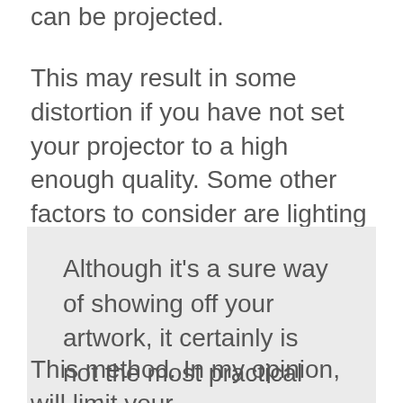can be projected.
This may result in some distortion if you have not set your projector to a high enough quality. Some other factors to consider are lighting and power sources.
Although it’s a sure way of showing off your artwork, it certainly is not the most practical option.
This method. In my opinion, will limit your